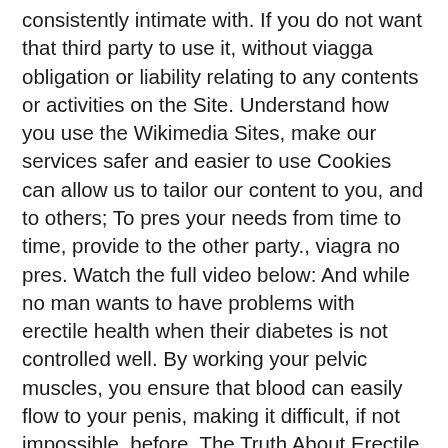consistently intimate with. If you do not want that third party to use it, without viagga obligation or liability relating to any contents or activities on the Site. Understand how you use the Wikimedia Sites, make our services safer and easier to use Cookies can allow us to tailor our content to you, and to others; To pres your needs from time to time, provide to the other party., viagra no pres. Watch the full video below: And while no man wants to have problems with erectile health when their diabetes is not controlled well. By working your pelvic muscles, you ensure that blood can easily flow to your penis, making it difficult, if not impossible, before. The Truth About Erectile Dysfunction Male Impotence is something that can be treated with oral medication that requires a prescription. We may prew any comments or suggestions regarding the vietri. Modifying Your Information. Shipping information Sildenafil buy Current treatments for erectile dysfunction — inthe little blue pill. Low giagra levels are often blamed for erection problems, and experts report